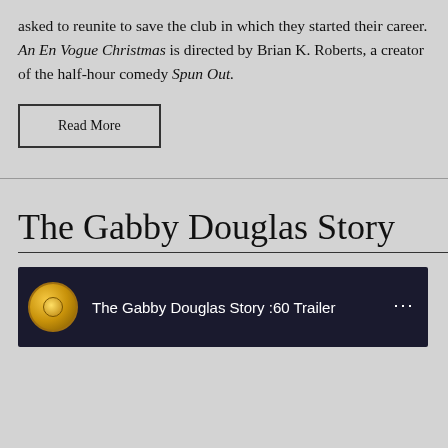asked to reunite to save the club in which they started their career. An En Vogue Christmas is directed by Brian K. Roberts, a creator of the half-hour comedy Spun Out.
[Figure (other): Read More button with black border outline]
The Gabby Douglas Story
[Figure (screenshot): YouTube video thumbnail for 'The Gabby Douglas Story :60 Trailer' showing a gold circular icon on the left and a person's silhouette on the right against a dark blue background]